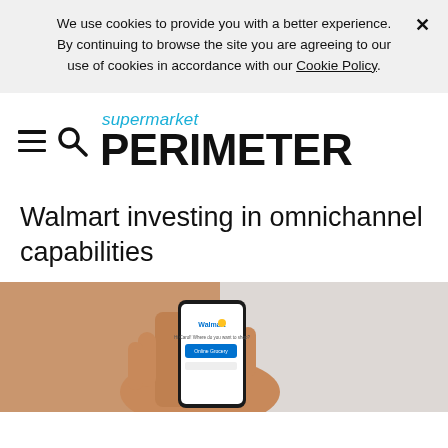We use cookies to provide you with a better experience. × By continuing to browse the site you are agreeing to our use of cookies in accordance with our Cookie Policy.
[Figure (logo): Supermarket Perimeter logo with hamburger menu icon and search icon on the left, 'supermarket' in italic cyan above 'PERIMETER' in large bold black text]
Walmart investing in omnichannel capabilities
[Figure (photo): A hand holding a smartphone displaying the Walmart app with 'Online Grocery' visible on screen]